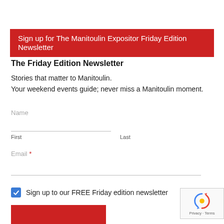Sign up for The Manitoulin Expositor Friday Edition Newsletter
The Friday Edition Newsletter
Stories that matter to Manitoulin.
Your weekend events guide; never miss a Manitoulin moment.
Name
First
Last
Email *
Sign up to our FREE Friday edition newsletter
[Figure (logo): reCAPTCHA badge with rotating arrows logo and Privacy - Terms text]